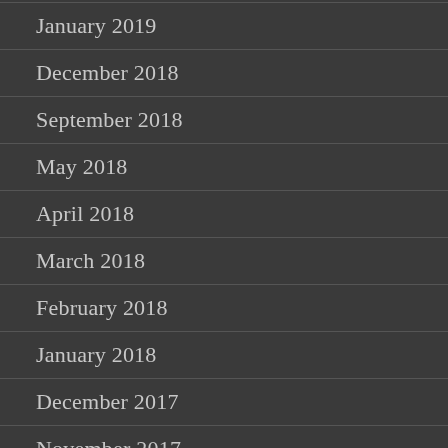January 2019
December 2018
September 2018
May 2018
April 2018
March 2018
February 2018
January 2018
December 2017
November 2017
October 2017
September 2017
August 2017